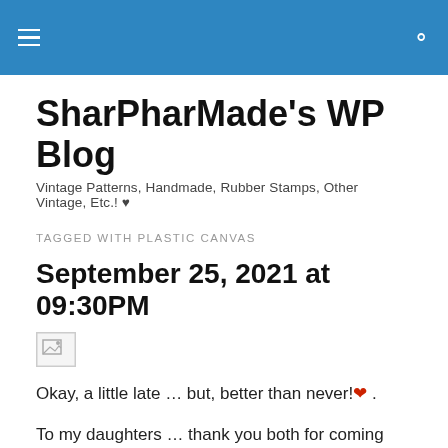SharPharMade's WP Blog — navigation header bar
SharPharMade's WP Blog
Vintage Patterns, Handmade, Rubber Stamps, Other Vintage, Etc.! ♥
TAGGED WITH PLASTIC CANVAS
September 25, 2021 at 09:30PM
[Figure (photo): Broken/missing image placeholder icon]
Okay, a little late … but, better than never!❤ .
To my daughters … thank you both for coming into, and being part of my life … a life that I can't, even, now, imagine without you! You both ROCK! .